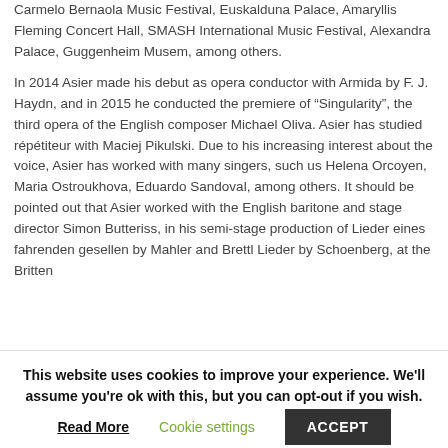Carmelo Bernaola Music Festival, Euskalduna Palace, Amaryllis Fleming Concert Hall, SMASH International Music Festival, Alexandra Palace, Guggenheim Musem, among others.
In 2014 Asier made his debut as opera conductor with Armida by F. J. Haydn, and in 2015 he conducted the premiere of “Singularity”, the third opera of the English composer Michael Oliva. Asier has studied répétiteur with Maciej Pikulski. Due to his increasing interest about the voice, Asier has worked with many singers, such us Helena Orcoyen, Maria Ostroukhova, Eduardo Sandoval, among others. It should be pointed out that Asier worked with the English baritone and stage director Simon Butteriss, in his semi-stage production of Lieder eines fahrenden gesellen by Mahler and Brettl Lieder by Schoenberg, at the Britten
This website uses cookies to improve your experience. We'll assume you're ok with this, but you can opt-out if you wish.
Read More
Cookie settings
ACCEPT